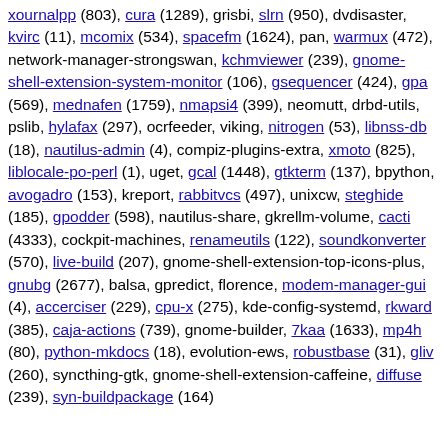xournalpp (803), cura (1289), grisbi, slrn (950), dvdisaster, kvirc (11), mcomix (534), spacefm (1624), pan, warmux (472), network-manager-strongswan, kchmviewer (239), gnome-shell-extension-system-monitor (106), gsequencer (424), gpa (569), mednafen (1759), nmapsi4 (399), neomutt, drbd-utils, pslib, hylafax (297), ocrfeeder, viking, nitrogen (53), libnss-db (18), nautilus-admin (4), compiz-plugins-extra, xmoto (825), liblocale-po-perl (1), uget, gcal (1448), gtkterm (137), bpython, avogadro (153), kreport, rabbitvcs (497), unixcw, steghide (185), gpodder (598), nautilus-share, gkrellm-volume, cacti (4333), cockpit-machines, renameutils (122), soundkonverter (570), live-build (207), gnome-shell-extension-top-icons-plus, gnubg (2677), balsa, gpredict, florence, modem-manager-gui (4), accerciser (229), cpu-x (275), kde-config-systemd, rkward (385), caja-actions (739), gnome-builder, 7kaa (1633), mp4h (80), python-mkdocs (18), evolution-ews, robustbase (31), gliv (260), syncthing-gtk, gnome-shell-extension-caffeine, diffuse (239), syn-buildpackage (164)